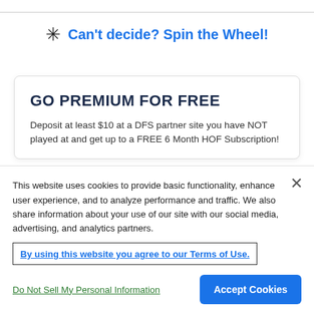Can't decide? Spin the Wheel!
GO PREMIUM FOR FREE
Deposit at least $10 at a DFS partner site you have NOT played at and get up to a FREE 6 Month HOF Subscription!
[Figure (other): Two option boxes with play/arrow icons]
This website uses cookies to provide basic functionality, enhance user experience, and to analyze performance and traffic. We also share information about your use of our site with our social media, advertising, and analytics partners.
By using this website you agree to our Terms of Use.
Do Not Sell My Personal Information
Accept Cookies